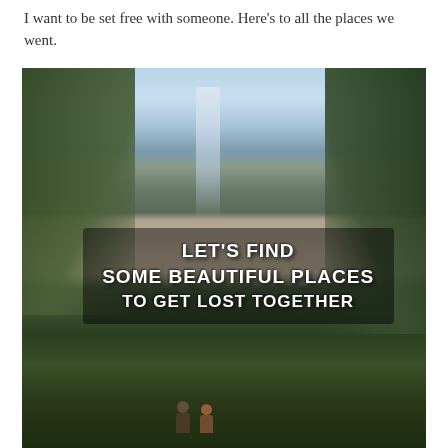I want to be set free with someone. Here's to all the places we went.
[Figure (photo): Outdoor nature photo of a mountain valley with a waterfall in the background, framed by green trees on both sides, with two people (silhouettes) standing in the foreground. Overlaid text reads: LET'S FIND SOME BEAUTIFUL PLACES TO GET LOST TOGETHER.]